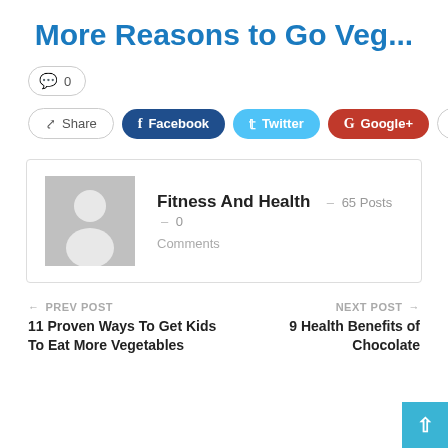More Reasons to Go Veg...
💬 0
Share | Facebook | Twitter | Google+ | +
Fitness And Health – 65 Posts – 0 Comments
← PREV POST
11 Proven Ways To Get Kids To Eat More Vegetables
NEXT POST →
9 Health Benefits of Chocolate